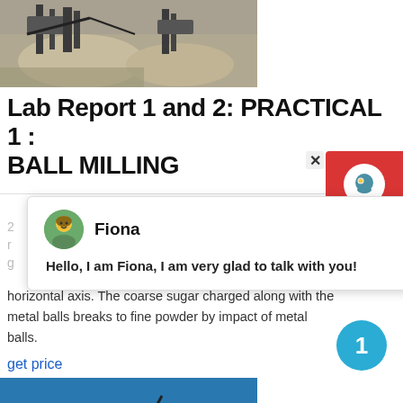[Figure (photo): Mining/crushing equipment with large machinery and sand/gravel piles]
Lab Report 1 and 2: PRACTICAL 1 : BALL MILLING
[Figure (screenshot): Chat popup overlay with avatar of Fiona and message: Hello, I am Fiona, I am very glad to talk with you!]
horizontal axis. The coarse sugar charged along with the metal balls breaks to fine powder by impact of metal balls.
get price
[Figure (photo): Blue sky with industrial structure/conveyor belt]